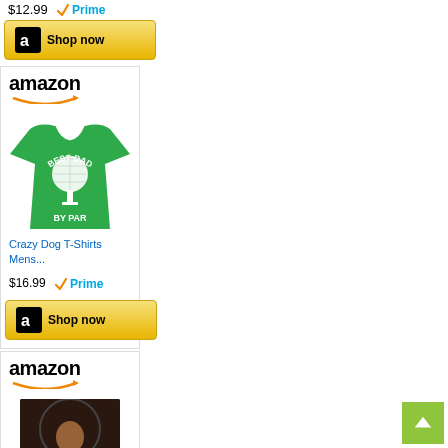$12.99
[Figure (logo): Amazon Prime badge (checkmark with Prime text)]
[Figure (screenshot): Amazon Shop now button with Amazon 'a' logo]
[Figure (screenshot): Amazon ad card showing amazon logo with arrow, green t-shirt with 'Best Dad By Par' golf design, product title 'Crazy Dog T-Shirts Mens...', price $16.99 with Prime badge, and Shop now button]
Crazy Dog T-Shirts Mens...
$16.99
[Figure (logo): Amazon Prime badge (checkmark with Prime text)]
[Figure (screenshot): Amazon ad card showing amazon logo with arrow, book cover 'The Fractured Wall']
[Figure (other): Back to top button (green square with upward arrow)]